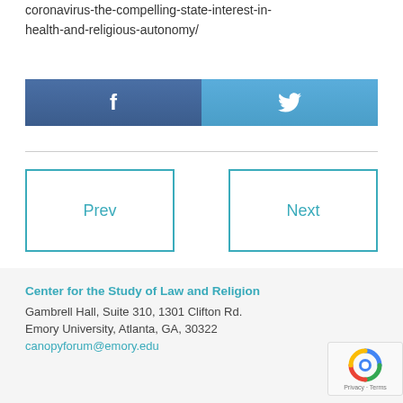coronavirus-the-compelling-state-interest-in-health-and-religious-autonomy/
[Figure (infographic): Social sharing buttons: Facebook (dark blue, left half) and Twitter (light blue, right half) with respective icons]
Prev
Next
Center for the Study of Law and Religion
Gambrell Hall, Suite 310, 1301 Clifton Rd.
Emory University, Atlanta, GA, 30322
canopyforum@emory.edu